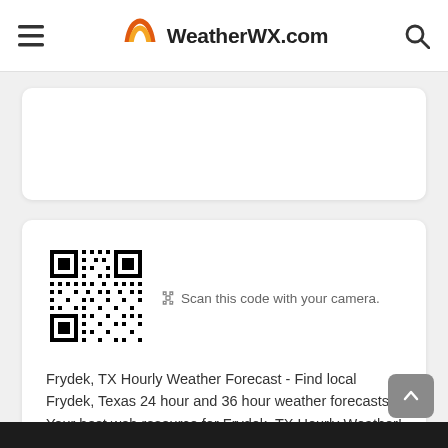WeatherWX.com
[Figure (other): QR code for WeatherWX.com Frydek TX Hourly Weather Forecast page]
Scan this code with your camera.
Frydek, TX Hourly Weather Forecast - Find local Frydek, Texas 24 hour and 36 hour weather forecasts. Your best web resource for Frydek, TX Hourly Weather!